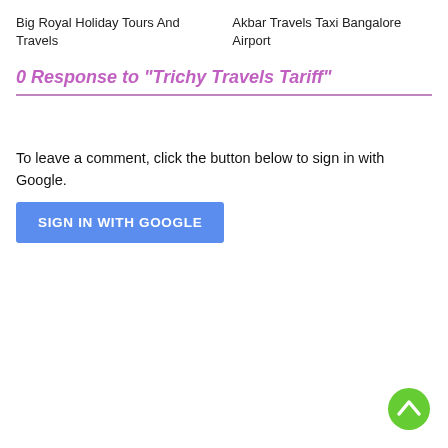Big Royal Holiday Tours And Travels
Akbar Travels Taxi Bangalore Airport
0 Response to "Trichy Travels Tariff"
To leave a comment, click the button below to sign in with Google.
SIGN IN WITH GOOGLE